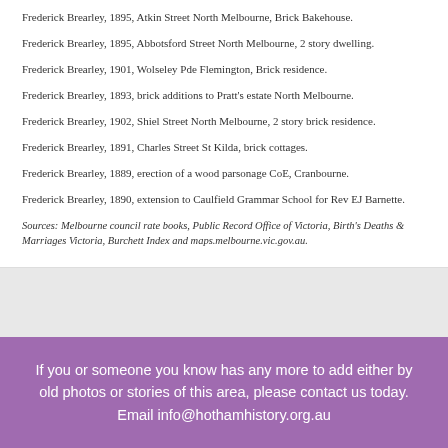Frederick Brearley, 1895, Atkin Street North Melbourne, Brick Bakehouse.
Frederick Brearley, 1895, Abbotsford Street North Melbourne, 2 story dwelling.
Frederick Brearley, 1901, Wolseley Pde Flemington, Brick residence.
Frederick Brearley, 1893, brick additions to Pratt's estate North Melbourne.
Frederick Brearley, 1902, Shiel Street North Melbourne, 2 story brick residence.
Frederick Brearley, 1891, Charles Street St Kilda, brick cottages.
Frederick Brearley, 1889, erection of a wood parsonage CoE, Cranbourne.
Frederick Brearley, 1890, extension to Caulfield Grammar School for Rev EJ Barnette.
Sources: Melbourne council rate books, Public Record Office of Victoria, Birth's Deaths & Marriages Victoria, Burchett Index and maps.melbourne.vic.gov.au.
If you or someone you know has any more to add either by old photos or stories of this area, please contact us today. Email info@hothamhistory.org.au